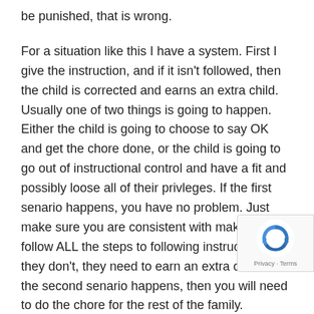be punished, that is wrong.

For a situation like this I have a system. First I give the instruction, and if it isn't followed, then the child is corrected and earns an extra child. Usually one of two things is going to happen. Either the child is going to choose to say OK and get the chore done, or the child is going to go out of instructional control and have a fit and possibly loose all of their privleges. If the first senario happens, you have no problem. Just make sure you are consistent with making them follow ALL the steps to following instructions. If they don't, they need to earn an extra chore. If the second senario happens, then you will need to do the chore for the rest of the family. Determine how much time the chore took you to do. What were you going to do during that time? Your youth will have to make up that time by doing a chore for you as well as whatever they have chosen to earn by not doing the chore. Don't let the family be inconvenienced by one person. This teaches the one child
[Figure (logo): reCAPTCHA badge with logo and Privacy/Terms links]